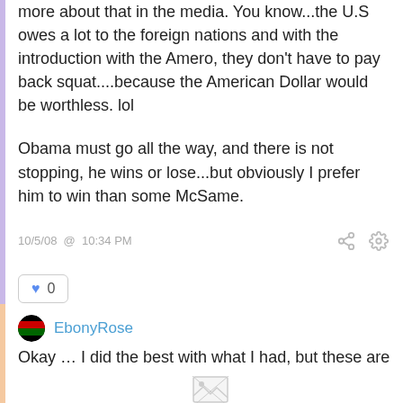more about that in the media. You know...the U.S owes a lot to the foreign nations and with the introduction with the Amero, they don't have to pay back squat....because the American Dollar would be worthless. lol
Obama must go all the way, and there is not stopping, he wins or lose...but obviously I prefer him to win than some McSame.
10/5/08 @ 10:34 PM
0
EbonyRose
Okay … I did the best with what I had, but these are